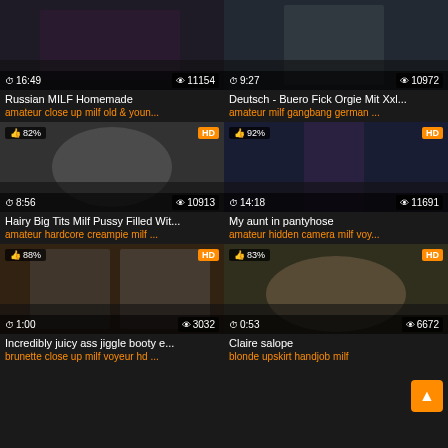[Figure (screenshot): Video thumbnail grid of adult content website showing 6 video cards in 2-column layout]
Russian MILF Homemade
amateur close up milf old & youn...
Deutsch - Buero Fick Orgie Mit Xxl...
amateur milf gangbang german ...
Hairy Big Tits Milf Pussy Filled Wit...
amateur hardcore creampie milf ...
My aunt in pantyhose
amateur hidden camera milf voy...
Incredibly juicy ass jiggle booty e...
brunette close up milf voyeur hd ...
Claire salope
blonde upskirt handjob milf